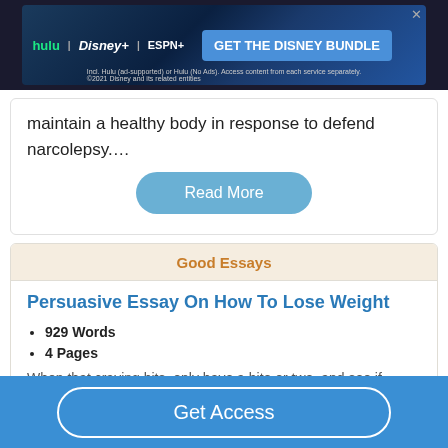[Figure (screenshot): Disney Bundle advertisement banner with Hulu, Disney+, and ESPN+ logos and a blue CTA button saying GET THE DISNEY BUNDLE]
maintain a healthy body in response to defend narcolepsy....
Read More
Good Essays
Persuasive Essay On How To Lose Weight
929 Words
4 Pages
When that craving hits, only have a bite or two, and see if
Get Access